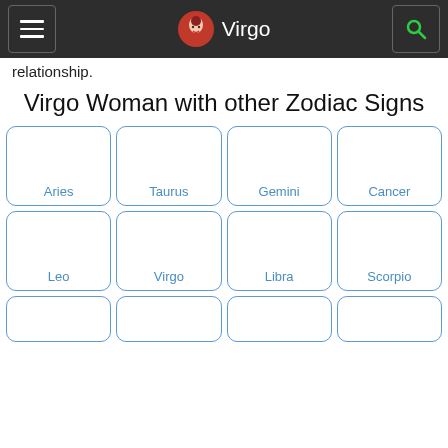Virgo
relationship.
Virgo Woman with other Zodiac Signs
[Figure (infographic): 4x3 grid of zodiac sign cards with blue rounded borders. Row 1: Aries, Taurus, Gemini, Cancer. Row 2: Leo, Virgo, Libra, Scorpio. Row 3 (partial): four more cards visible at bottom edge.]